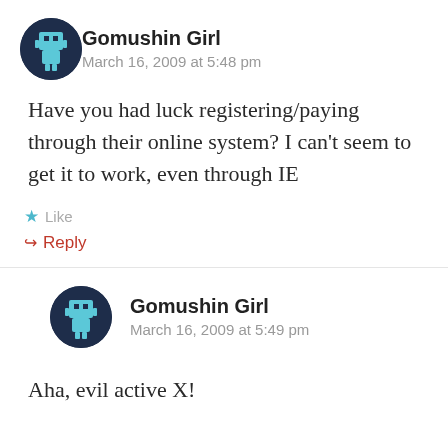Gomushin Girl
March 16, 2009 at 5:48 pm
Have you had luck registering/paying through their online system? I can’t seem to get it to work, even through IE
★ Like
↪ Reply
Gomushin Girl
March 16, 2009 at 5:49 pm
Aha, evil active X!